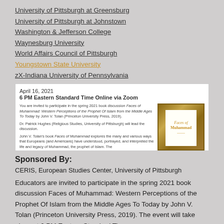University of Pittsburgh at Greensburg
University of Pittsburgh at Johnstown
Washington & Jefferson College
Waynesburg University
World Affairs Council of Pittsburgh
Youngstown State University
zX-Indiana University of Pennsylvania
[Figure (screenshot): Event flyer for April 16, 2021 book discussion at 6 PM Eastern Standard Time Online via Zoom about Faces of Muhammad book, with book cover image on right.]
Sponsored By:
CERIS, European Studies Center, University of Pittsburgh
Educators are invited to participate in the spring 2021 book discussion Faces of Muhammad: Western Perceptions of the Prophet Of Islam from the Middle Ages To Today by John V. Tolan (Princeton University Press, 2019). The event will take place at 6 PM Eastern Standard Time